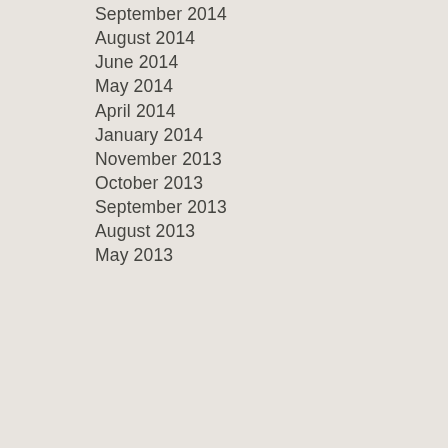September 2014
August 2014
June 2014
May 2014
April 2014
January 2014
November 2013
October 2013
September 2013
August 2013
May 2013